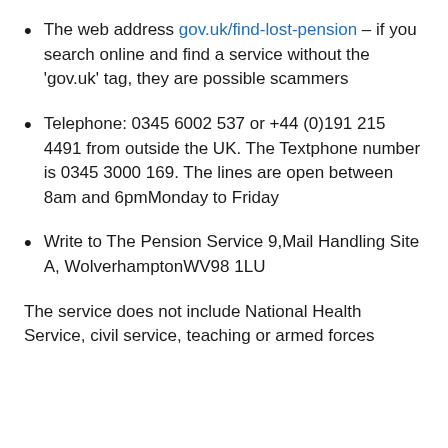The web address gov.uk/find-lost-pension – if you search online and find a service without the 'gov.uk' tag, they are possible scammers
Telephone: 0345 6002 537 or +44 (0)191 215 4491 from outside the UK. The Textphone number is 0345 3000 169. The lines are open between 8am and 6pmMonday to Friday
Write to The Pension Service 9,Mail Handling Site A, WolverhamptonWV98 1LU
The service does not include National Health Service, civil service, teaching or armed forces